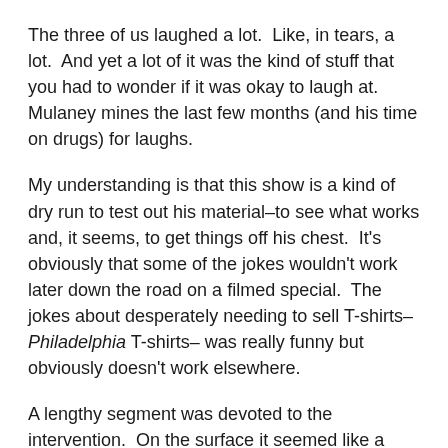The three of us laughed a lot.  Like, in tears, a lot.  And yet a lot of it was the kind of stuff that you had to wonder if it was okay to laugh at.   Mulaney mines the last few months (and his time on drugs) for laughs.
My understanding is that this show is a kind of dry run to test out his material–to see what works and, it seems, to get things off his chest.  It's obviously that some of the jokes wouldn't work later down the road on a filmed special.  The jokes about desperately needing to sell T-shirts–Philadelphia T-shirts– was really funny but obviously doesn't work elsewhere.
A lengthy segment was devoted to the intervention.  On the surface it seemed like a celebrity name drop segment, until you realize that, yes, of course that's who his friends are.  He did some impressions of some of the people, but I